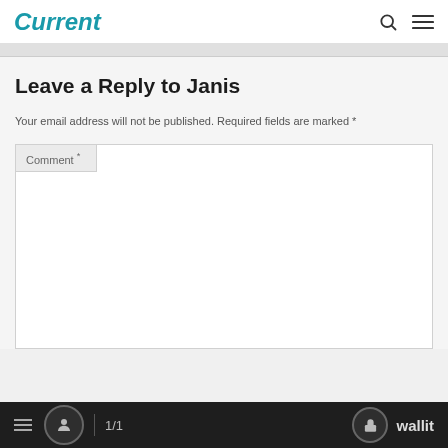Current
Leave a Reply to Janis
Your email address will not be published. Required fields are marked *
Comment *
1/1   wallit